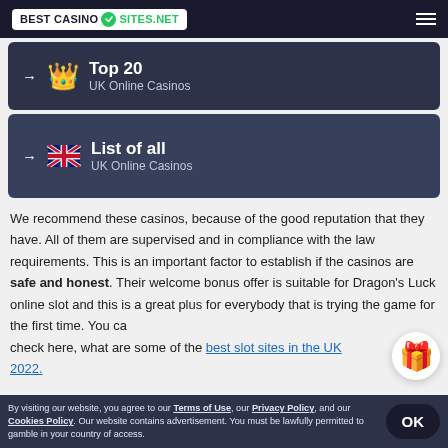BestCasinoSites.net
[Figure (infographic): Navigation card: Top 20 UK Online Casinos with crown emoji]
[Figure (infographic): Navigation card: List of all UK Online Casinos with UK flag emoji]
We recommend these casinos, because of the good reputation that they have. All of them are supervised and in compliance with the law requirements. This is an important factor to establish if the casinos are safe and honest. Their welcome bonus offer is suitable for Dragon's Luck online slot and this is a great plus for everybody that is trying the game for the first time. You can check here, what are some of the best slot sites in the UK 2022.
By visiting our website, you agree to our Terms of Use, our Privacy Policy, and our Cookies Policy. Our website contains advertisement. You must be lawfully permitted to gamble in your country of access.